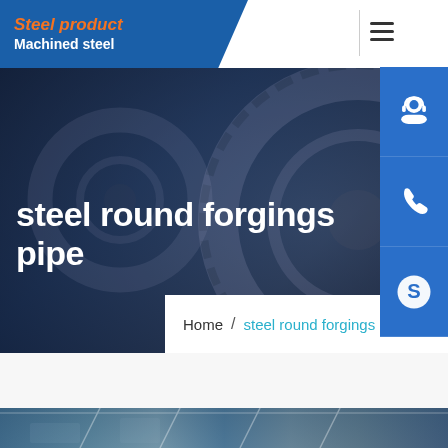Steel product / Machined steel
[Figure (photo): Dark industrial hero background showing steel gears/machinery with blue-dark overlay]
steel round forgings pipe
Home / steel round forgings pipe
[Figure (photo): Bottom strip showing steel factory/industrial facility interior]